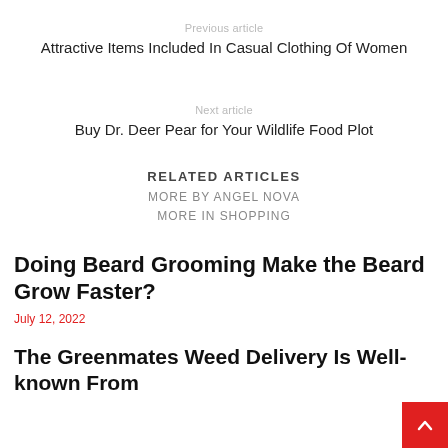Previous article
Attractive Items Included In Casual Clothing Of Women
Next article
Buy Dr. Deer Pear for Your Wildlife Food Plot
RELATED ARTICLES
MORE BY ANGEL NOVA
MORE IN SHOPPING
Doing Beard Grooming Make the Beard Grow Faster?
July 12, 2022
The Greenmates Weed Delivery Is Well-known From